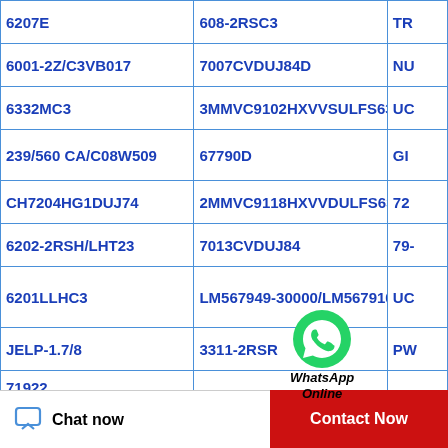| Col1 | Col2 | Col3 |
| --- | --- | --- |
| 6207E | 608-2RSC3 | TR |
| 6001-2Z/C3VB017 | 7007CVDUJ84D | NU |
| 6332MC3 | 3MMVC9102HXVVSULFS637 | UC |
| 239/560 CA/C08W509 | 67790D | GI |
| CH7204HG1DUJ74 | 2MMVC9118HXVVDULFS637 | 72 |
| 6202-2RSH/LHT23 | 7013CVDUJ84 | 79- |
| 6201LLHC3 | LM567949-30000/LM567910-30000 | UC |
| JELP-1.7/8 | 3311-2RSR | PW |
| 71922 CD/P4ADBAVG187 | BH-68 | HK |
| R4ZZ/1E | 7003A5TRSUMP3 | 619 |
| B/E2307CE1UM | 3205-2Z | UC |
| UCPL207-107D1 | 7006C-5GLX2FGP4 | LS |
| 120ME | 6216Z | 63 |
| MLF71902HVU84S | TWA3648 | N7 |
[Figure (logo): WhatsApp Online logo overlay with green WhatsApp icon and italic text]
Chat now
Contact Now